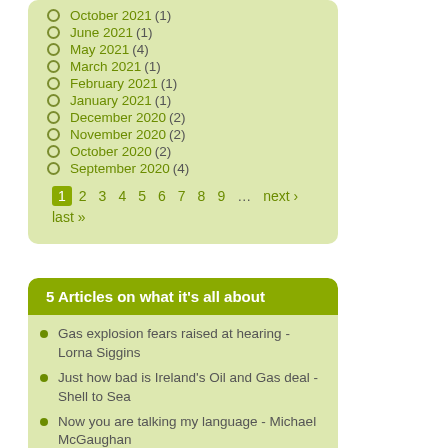October 2021 (1)
June 2021 (1)
May 2021 (4)
March 2021 (1)
February 2021 (1)
January 2021 (1)
December 2020 (2)
November 2020 (2)
October 2020 (2)
September 2020 (4)
1 2 3 4 5 6 7 8 9 … next › last »
5 Articles on what it's all about
Gas explosion fears raised at hearing - Lorna Siggins
Just how bad is Ireland's Oil and Gas deal - Shell to Sea
Now you are talking my language - Michael McGaughan